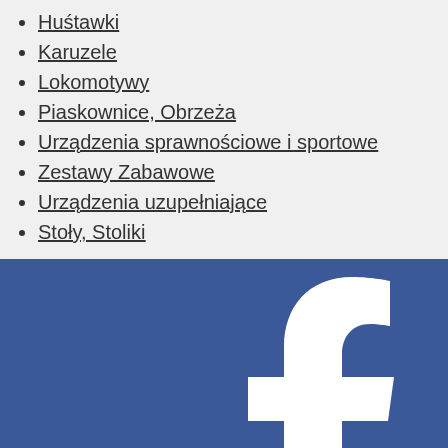Huśtawki
Karuzele
Lokomotywy
Piaskownice, Obrzeża
Urządzenia sprawnościowe i sportowe
Zestawy Zabawowe
Urządzenia uzupełniające
Stoły, Stoliki
[Figure (logo): Facebook logo — white 'f' letter on blue background]